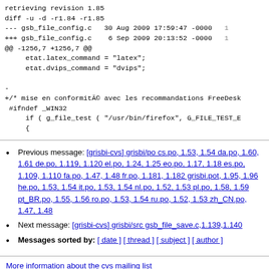retrieving revision 1.85
diff -u -d -r1.84 -r1.85
--- gsb_file_config.c   30 Aug 2009 17:59:47 -0000
+++ gsb_file_config.c    6 Sep 2009 20:13:52 -0000
@@ -1256,7 +1256,7 @@
     etat.latex_command = "latex";
     etat.dvips_command = "dvips";

-
+/* mise en conformité avec les recommandations FreeDes
 #ifndef _WIN32
     if ( g_file_test ( "/usr/bin/firefox", G_FILE_TEST_E
     {
Previous message: [grisbi-cvs] grisbi/po cs.po, 1.53, 1.54 da.po, 1.60, 1.61 de.po, 1.119, 1.120 el.po, 1.24, 1.25 eo.po, 1.17, 1.18 es.po, 1.109, 1.110 fa.po, 1.47, 1.48 fr.po, 1.181, 1.182 grisbi.pot, 1.95, 1.96 he.po, 1.53, 1.54 it.po, 1.53, 1.54 nl.po, 1.52, 1.53 pl.po, 1.58, 1.59 pt_BR.po, 1.55, 1.56 ro.po, 1.53, 1.54 ru.po, 1.52, 1.53 zh_CN.po, 1.47, 1.48
Next message: [grisbi-cvs] grisbi/src gsb_file_save.c,1.139,1.140
Messages sorted by: [ date ] [ thread ] [ subject ] [ author ]
More information about the cvs mailing list